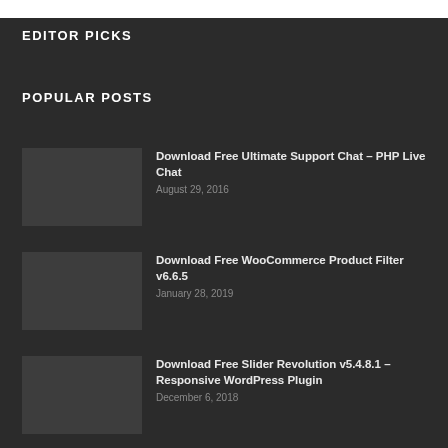EDITOR PICKS
POPULAR POSTS
Download Free Ultimate Support Chat – PHP Live Chat
August 29, 2016
Download Free WooCommerce Product Filter v6.6.5
January 28, 2019
Download Free Slider Revolution v5.4.8.1 – Responsive WordPress Plugin
December 6, 2018